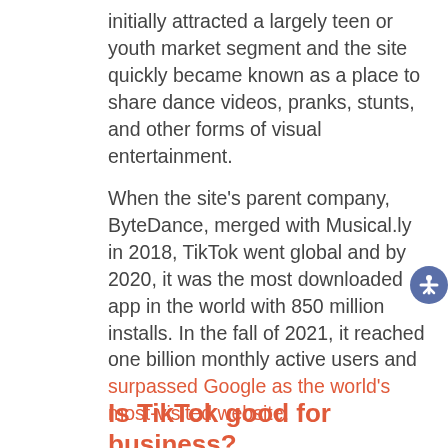initially attracted a largely teen or youth market segment and the site quickly became known as a place to share dance videos, pranks, stunts, and other forms of visual entertainment.
When the site's parent company, ByteDance, merged with Musical.ly in 2018, TikTok went global and by 2020, it was the most downloaded app in the world with 850 million installs. In the fall of 2021, it reached one billion monthly active users and surpassed Google as the world's most-visited website.
Is TikTok good for business?